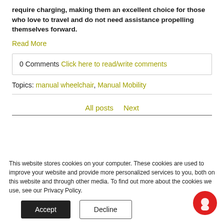require charging, making them an excellent choice for those who love to travel and do not need assistance propelling themselves forward.
Read More
0 Comments Click here to read/write comments
Topics: manual wheelchair, Manual Mobility
All posts  Next
This website stores cookies on your computer. These cookies are used to improve your website and provide more personalized services to you, both on this website and through other media. To find out more about the cookies we use, see our Privacy Policy.
Accept
Decline